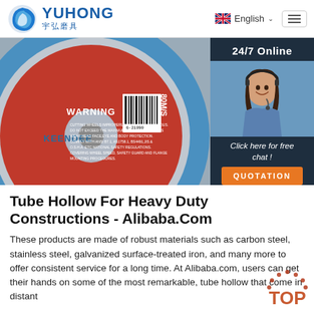YUHONG 宇弘磨具 | English | Menu
[Figure (photo): Close-up photo of a red and blue grinding/cutting disc labeled KEENDEE with SPEED 80M/S and WARNING text, alongside a 24/7 Online chat panel with a female customer service agent, a 'Click here for free chat!' message, and an orange QUOTATION button.]
Tube Hollow For Heavy Duty Constructions - Alibaba.Com
These products are made of robust materials such as carbon steel, stainless steel, galvanized surface-treated iron, and many more to offer consistent service for a long time. At Alibaba.com, users can get their hands on some of the most remarkable, tube hollow that come in distant